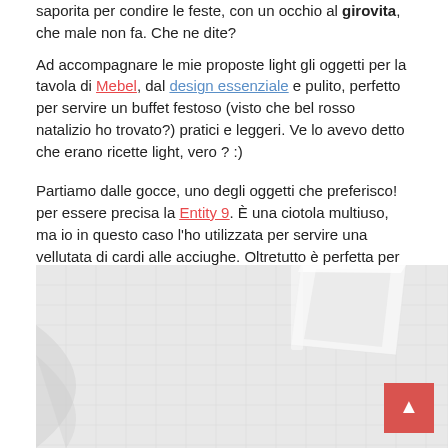saporita per condire le feste, con un occhio al girovita, che male non fa. Che ne dite?
Ad accompagnare le mie proposte light gli oggetti per la tavola di Mebel, dal design essenziale e pulito, perfetto per servire un buffet festoso (visto che bel rosso natalizio ho trovato?) pratici e leggeri. Ve lo avevo detto che erano ricette light, vero ? :)
Partiamo dalle gocce, uno degli oggetti che preferisco! per essere precisa la Entity 9. È una ciotola multiuso, ma io in questo caso l'ho utilizzata per servire una vellutata di cardi alle acciughe. Oltretutto è perfetta per la monoporzione.
[Figure (photo): A white ceramic bowl (Entity 9 multipurpose bowl) on a light linen fabric background, photographed in natural light. The bowl is positioned in the upper right portion of the image.]